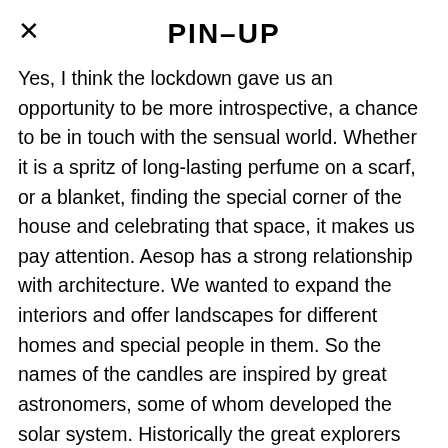PIN–UP
Yes, I think the lockdown gave us an opportunity to be more introspective, a chance to be in touch with the sensual world. Whether it is a spritz of long-lasting perfume on a scarf, or a blanket, finding the special corner of the house and celebrating that space, it makes us pay attention. Aesop has a strong relationship with architecture. We wanted to expand the interiors and offer landscapes for different homes and special people in them. So the names of the candles are inspired by great astronomers, some of whom developed the solar system. Historically the great explorers have always looked at the stars for navigation, the world was discovered that way. I think at this time the idea of the flickering light in the distance was persuasive. A light can overcome the darkness, and the image of stars in the sky guiding you is just